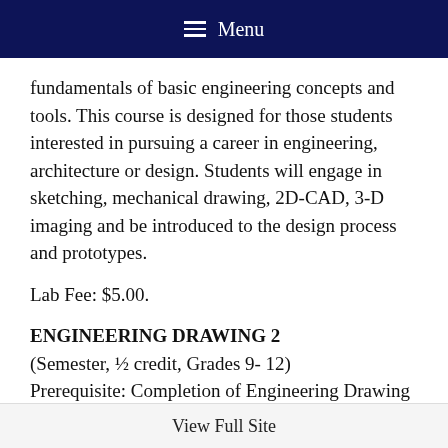Menu
fundamentals of basic engineering concepts and tools. This course is designed for those students interested in pursuing a career in engineering, architecture or design. Students will engage in sketching, mechanical drawing, 2D-CAD, 3-D imaging and be introduced to the design process and prototypes.
Lab Fee: $5.00.
ENGINEERING DRAWING 2
(Semester, ½ credit, Grades 9- 12)
Prerequisite: Completion of Engineering Drawing 1
View Full Site